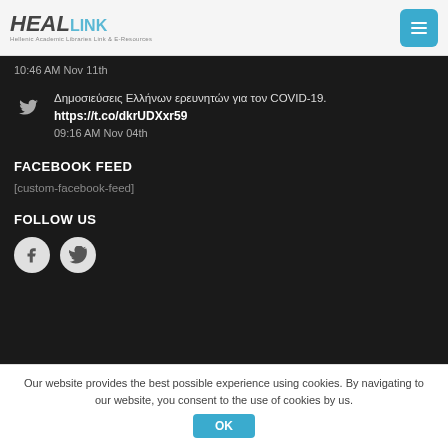HEALlink
10:46 AM Nov 11th
Δημοσιεύσεις Ελλήνων ερευνητών για τον COVID-19.
https://t.co/dkrUDXxr59
09:16 AM Nov 04th
FACEBOOK FEED
[custom-facebook-feed]
FOLLOW US
[Figure (illustration): Facebook and Twitter social media icons (circular grey buttons)]
Our website provides the best possible experience using cookies. By navigating to our website, you consent to the use of cookies by us.